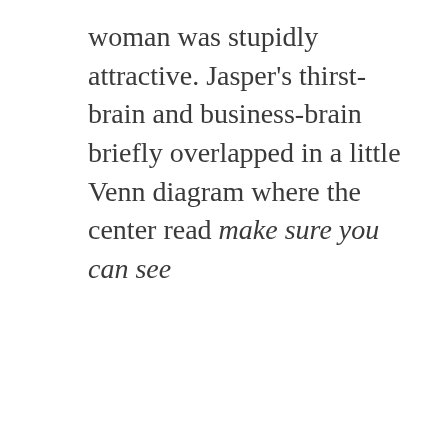woman was stupidly attractive. Jasper's thirst-brain and business-brain briefly overlapped in a little Venn diagram where the center read make sure you can see